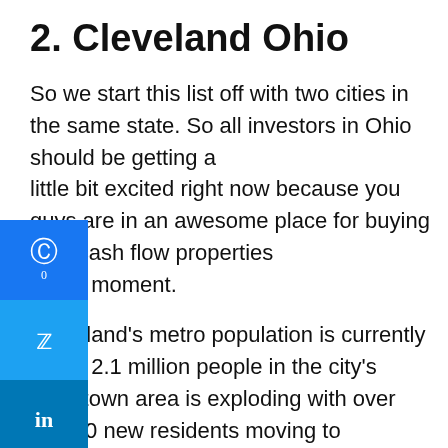2. Cleveland Ohio
So we start this list off with two cities in the same state. So all investors in Ohio should be getting a little bit excited right now because you guys are in an awesome place for buying high cash flow properties at the moment.
Cleveland’s metro population is currently about 2.1 million people in the city’s downtown area is exploding with over 15,000 new residents moving to downtown Cleveland in just the last summer alone.
The reason for this is most likely because downtown Cleveland has experienced a massive